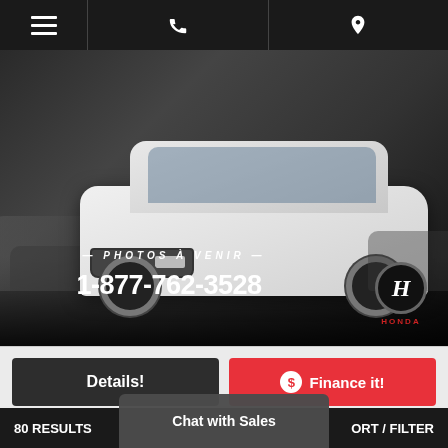Navigation bar with hamburger menu, phone icon, and location icon
[Figure (photo): White Chevrolet SUV (Trax) parked in a lot, with overlaid text 'PHOTOS À VENIR' and phone number '1-877-762-3528', Honda logo in bottom right corner]
Details!
$ Finance it!
CHEVROLET
$11,088
80 RESULTS   SORT / FILTER   Chat with Sales